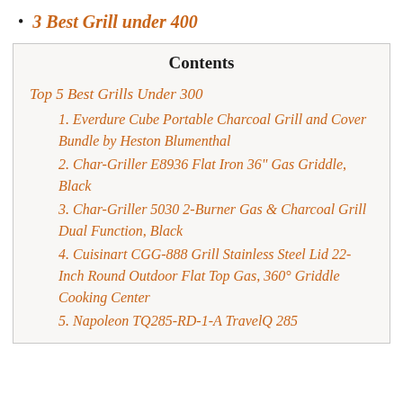3 Best Grill under 400
Contents
Top 5 Best Grills Under 300
1. Everdure Cube Portable Charcoal Grill and Cover Bundle by Heston Blumenthal
2. Char-Griller E8936 Flat Iron 36" Gas Griddle, Black
3. Char-Griller 5030 2-Burner Gas & Charcoal Grill Dual Function, Black
4. Cuisinart CGG-888 Grill Stainless Steel Lid 22-Inch Round Outdoor Flat Top Gas, 360° Griddle Cooking Center
5. Napoleon TQ285-RD-1-A TravelQ 285